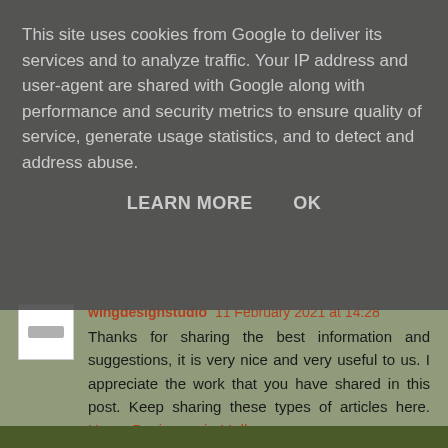This site uses cookies from Google to deliver its services and to analyze traffic. Your IP address and user-agent are shared with Google along with performance and security metrics to ensure quality of service, generate usage statistics, and to detect and address abuse.
LEARN MORE   OK
wingdesignstudio 11 February 2021 at 14:28
Thanks for sharing the best information and suggestions, it is very nice and very useful to us. I appreciate the work that you have shared in this post. Keep sharing these types of articles here. Home Designers in Melbourne
Reply
To leave a comment, click the button below to sign in with Google.
SIGN IN WITH GOOGLE